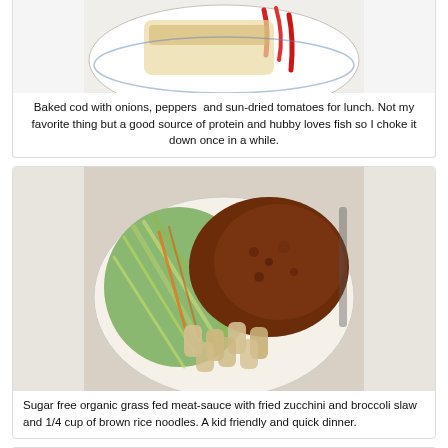[Figure (photo): Photo of baked cod with onions, peppers and sun-dried tomatoes on a plate, partially visible at top]
Baked cod with onions, peppers  and sun-dried tomatoes for lunch. Not my favorite thing but a good source of protein and hubby loves fish so I choke it down once in a while.
[Figure (photo): Photo of a plate with sugar free organic grass fed meat-sauce with fried zucchini and broccoli slaw and brown rice noodles]
Sugar free organic grass fed meat-sauce with fried zucchini and broccoli slaw and 1/4 cup of brown rice noodles. A kid friendly and quick dinner.
[Figure (photo): Partially visible photo at bottom of page, showing a tan/brown surface with a dark object]